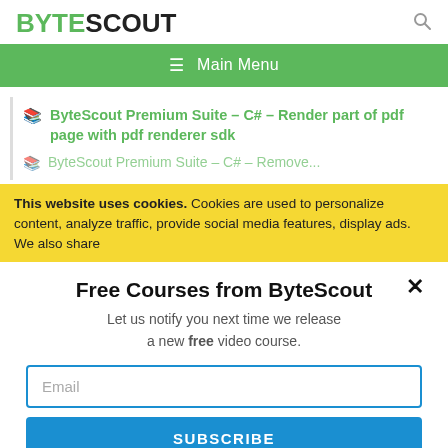BYTESCOUT
[Figure (screenshot): Green navigation bar with hamburger menu icon and 'Main Menu' text]
ByteScout Premium Suite – C# – Render part of pdf page with pdf renderer sdk
ByteScout Premium Suite – C# – Remove...
This website uses cookies. Cookies are used to personalize content, analyze traffic, provide social media features, display ads. We also share
Free Courses from ByteScout
Let us notify you next time we release a new free video course.
Email
SUBSCRIBE